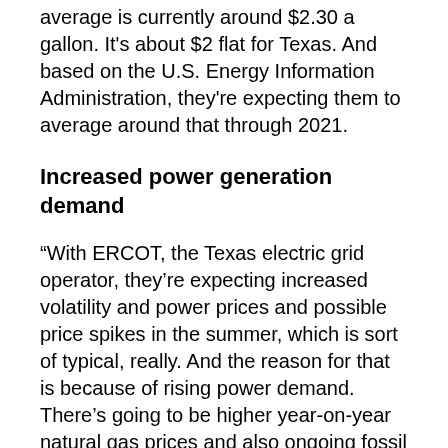average is currently around $2.30 a gallon. It's about $2 flat for Texas. And based on the U.S. Energy Information Administration, they're expecting them to average around that through 2021.
Increased power generation demand
“With ERCOT, the Texas electric grid operator, they’re expecting increased volatility and power prices and possible price spikes in the summer, which is sort of typical, really. And the reason for that is because of rising power demand. There’s going to be higher year-on-year natural gas prices and also ongoing fossil fuel power plant retirements, which is going to support prices. As we see the growing presence of wind and solar, because they are more intermittent and can’t be guaranteed at peak